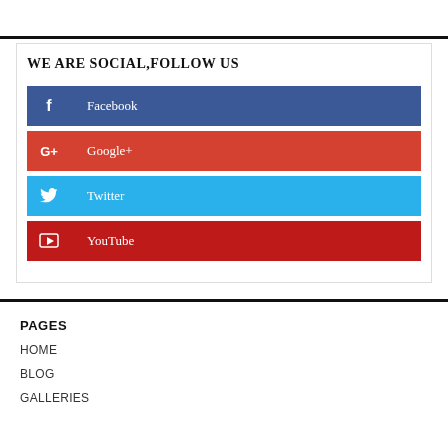WE ARE SOCIAL,FOLLOW US
[Figure (infographic): Social media follow buttons: Facebook (blue), Google+ (red-orange), Twitter (light blue), YouTube (red), each with icon and label]
PAGES
HOME
BLOG
GALLERIES